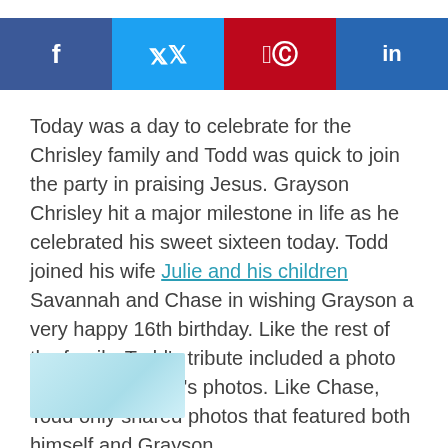[Figure (other): Social media share buttons: Facebook (blue), Twitter (light blue), Pinterest (red), LinkedIn (dark blue)]
Today was a day to celebrate for the Chrisley family and Todd was quick to join the party in praising Jesus. Grayson Chrisley hit a major milestone in life as he celebrated his sweet sixteen today. Todd joined his wife Julie and his children Savannah and Chase in wishing Grayson a very happy 16th birthday. Like the rest of the family, Todd’s tribute included a photo dump of Grayson’s photos. Like Chase, Todd only shared photos that featured both himself and Grayson.
[Figure (photo): Partial image visible at bottom left, light blue/teal colored]